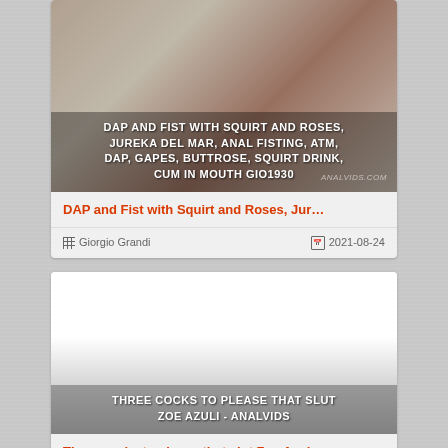[Figure (photo): Thumbnail image with overlay text: DAP AND FIST WITH SQUIRT AND ROSES, JUREKA DEL MAR, ANAL FISTING, ATM, DAP, GAPES, BUTTROSE, SQUIRT DRINK, CUM IN MOUTH GIO1930. Watermark: ANALVIDS.COM]
DAP and Fist with Squirt and Roses, Jur…
Giorgio Grandi   2021-08-24
[Figure (photo): Thumbnail image with overlay text: THREE COCKS TO PLEASE THAT SLUT ZOE AZULI - ANALVIDS]
Three cocks to please that slut Zoe Azul…